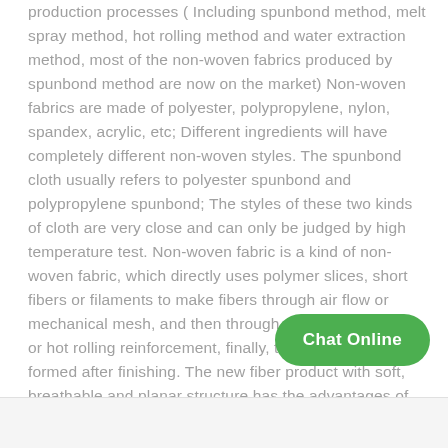production processes ( Including spunbond method, melt spray method, hot rolling method and water extraction method, most of the non-woven fabrics produced by spunbond method are now on the market) Non-woven fabrics are made of polyester, polypropylene, nylon, spandex, acrylic, etc; Different ingredients will have completely different non-woven styles. The spunbond cloth usually refers to polyester spunbond and polypropylene spunbond; The styles of these two kinds of cloth are very close and can only be judged by high temperature test. Non-woven fabric is a kind of non-woven fabric, which directly uses polymer slices, short fibers or filaments to make fibers through air flow or mechanical mesh, and then through Spurs, acupuncture, or hot rolling reinforcement, finally, the unwoven fabric formed after finishing. The new fiber product with soft, breathable and planar structure has the advantages of not producing fiber chips, being strong, durable and silky, is also a kind of reinforced material, and also has the feeling of cotton, compared with cotton fabrics, non-wo to form and cost.